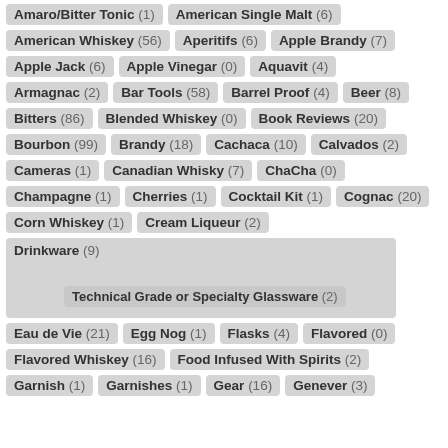Amaro/Bitter Tonic (1)
American Single Malt (6)
American Whiskey (56)
Aperitifs (6)
Apple Brandy (7)
Apple Jack (6)
Apple Vinegar (0)
Aquavit (4)
Armagnac (2)
Bar Tools (58)
Barrel Proof (4)
Beer (8)
Bitters (86)
Blended Whiskey (0)
Book Reviews (20)
Bourbon (99)
Brandy (18)
Cachaca (10)
Calvados (2)
Cameras (1)
Canadian Whisky (7)
ChaCha (0)
Champagne (1)
Cherries (1)
Cocktail Kit (1)
Cognac (20)
Corn Whiskey (1)
Cream Liqueur (2)
Drinkware (9) — Technical Grade or Specialty Glassware (2)
Eau de Vie (21)
Egg Nog (1)
Flasks (4)
Flavored (0)
Flavored Whiskey (16)
Food Infused With Spirits (2)
Garnish (1)
Garnishes (1)
Gear (16)
Genever (3)